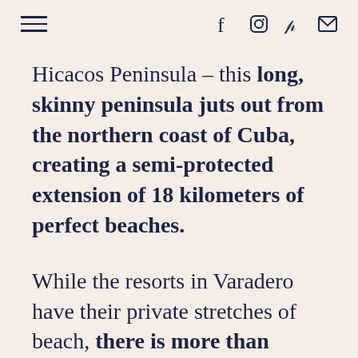[hamburger menu] [social icons: f, instagram, pinterest, email]
Hicacos Peninsula – this long, skinny peninsula juts out from the northern coast of Cuba, creating a semi-protected extension of 18 kilometers of perfect beaches.
While the resorts in Varadero have their private stretches of beach, there is more than enough public beach that it won't